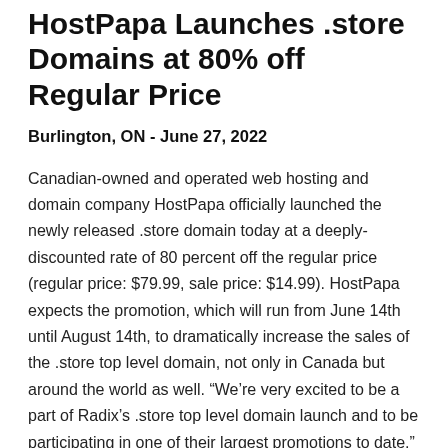HostPapa Launches .store Domains at 80% off Regular Price
Burlington, ON - June 27, 2022
Canadian-owned and operated web hosting and domain company HostPapa officially launched the newly released .store domain today at a deeply-discounted rate of 80 percent off the regular price (regular price: $79.99, sale price: $14.99). HostPapa expects the promotion, which will run from June 14th until August 14th, to dramatically increase the sales of the .store top level domain, not only in Canada but around the world as well. “We’re very excited to be a part of Radix’s .store top level domain launch and to be participating in one of their largest promotions to date,” says Paul Filice, VP, Information Technology & Domains at HostPapa.